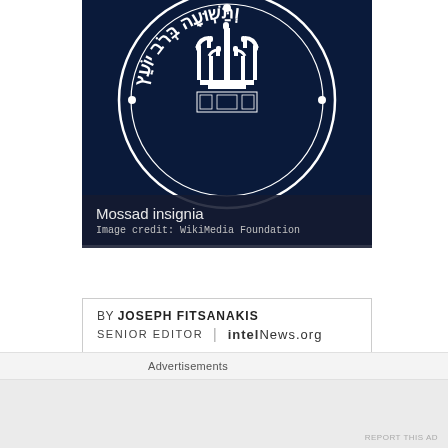[Figure (logo): Mossad insignia — dark navy blue circular emblem with a menorah (candelabra) in the center surrounded by Hebrew text and decorative border elements]
Mossad insignia
Image credit: WikiMedia Foundation
BY JOSEPH FITSANAKIS
SENIOR EDITOR | intelNews.org
Isaac Shoshan, an Israeli undercover operative, who was involved in some of Israel's most daring and controversi…
Advertisements